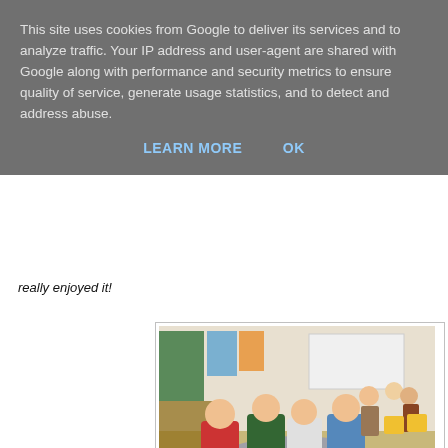This site uses cookies from Google to deliver its services and to analyze traffic. Your IP address and user-agent are shared with Google along with performance and security metrics to ensure quality of service, generate usage statistics, and to detect and address abuse.
LEARN MORE   OK
really enjoyed it!
[Figure (photo): Children in a classroom wearing art aprons, sitting around a round grey table. Yellow chairs visible in background with classroom displays on walls and a whiteboard.]
[Figure (photo): Partial view of another classroom photo, cropped at bottom of page.]